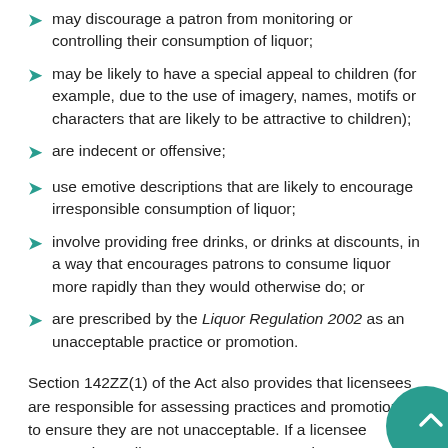may discourage a patron from monitoring or controlling their consumption of liquor;
may be likely to have a special appeal to children (for example, due to the use of imagery, names, motifs or characters that are likely to be attractive to children);
are indecent or offensive;
use emotive descriptions that are likely to encourage irresponsible consumption of liquor;
involve providing free drinks, or drinks at discounts, in a way that encourages patrons to consume liquor more rapidly than they would otherwise do; or
are prescribed by the Liquor Regulation 2002 as an unacceptable practice or promotion.
Section 142ZZ(1) of the Act also provides that licensees are responsible for assessing practices and promotions to ensure they are not unacceptable. If a licensee engages in or allows a person to engage in an unacceptable practice or promotion in the conduct of a business on the rele